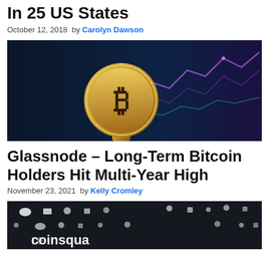In 25 US States
October 12, 2018  by Carolyn Dawson
[Figure (photo): Gold Bitcoin coin held up against a blurred background showing financial charts with blue and pink lines]
Glassnode – Long-Term Bitcoin Holders Hit Multi-Year High
November 23, 2021  by Kelly Cromley
[Figure (photo): Dark background with white dots/circles pattern and partial text reading 'coinsquare' at the bottom]